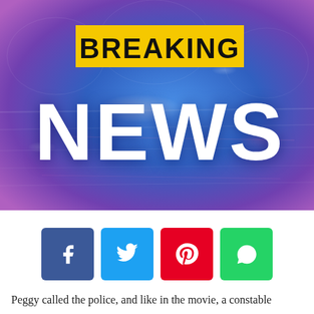[Figure (illustration): Breaking News banner with blue-purple gradient background, world map overlay, light rays, yellow rectangle with bold black text 'BREAKING' and large white text 'NEWS' below]
[Figure (infographic): Social media share buttons: Facebook (blue), Twitter (cyan), Pinterest (red), WhatsApp (green)]
Peggy called the police, and like in the movie, a constable